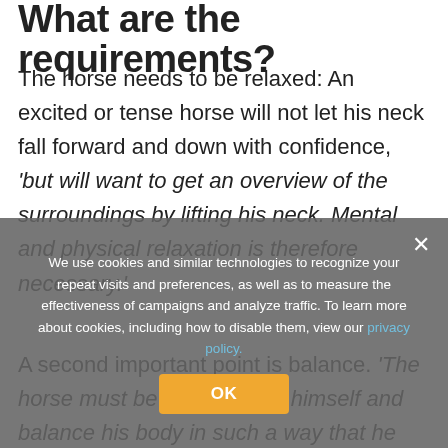What are the requirements?
The horse needs to be relaxed: An excited or tense horse will not let his neck fall forward and down with confidence, 'but will want to get an overview of the surroundings by lifting his neck. Mental and physical relaxation is therefore necessary.'
A second important point is balance. 'The horse must be able to carry himself and balance his body in such a way that he moves in balance.'
A lot of things are considered as forward and down, a...
We use cookies and similar technologies to recognize your repeat visits and preferences, as well as to measure the effectiveness of campaigns and analyze traffic. To learn more about cookies, including how to disable them, view our privacy policy.